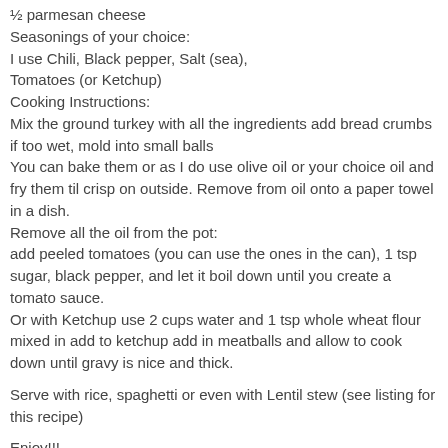½ parmesan cheese
Seasonings of your choice:
I use Chili, Black pepper, Salt (sea), Tomatoes (or Ketchup)
Cooking Instructions:
Mix the ground turkey with all the ingredients add bread crumbs if too wet, mold into small balls
You can bake them or as I do use olive oil or your choice oil and fry them til crisp on outside. Remove from oil onto a paper towel in a dish.
Remove all the oil from the pot:
add peeled tomatoes (you can use the ones in the can), 1 tsp sugar, black pepper, and let it boil down until you create a tomato sauce.
Or with Ketchup use 2 cups water and 1 tsp whole wheat flour mixed in add to ketchup add in meatballs and allow to cook down until gravy is nice and thick.
Serve with rice, spaghetti or even with Lentil stew (see listing for this recipe)
Enjoy!!!